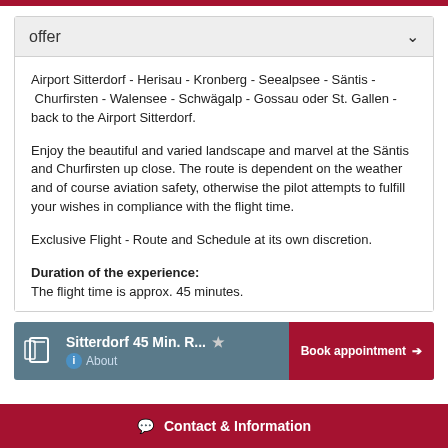offer
Airport Sitterdorf - Herisau - Kronberg - Seealpsee - Säntis - Churfirsten - Walensee - Schwägalp - Gossau oder St. Gallen - back to the Airport Sitterdorf.
Enjoy the beautiful and varied landscape and marvel at the Säntis and Churfirsten up close. The route is dependent on the weather and of course aviation safety, otherwise the pilot attempts to fulfill your wishes in compliance with the flight time.
Exclusive Flight - Route and Schedule at its own discretion.
Duration of the experience:
The flight time is approx. 45 minutes.
[Figure (screenshot): Booking bar showing 'Sitterdorf 45 Min. R...' title with About link, star icon, and Book appointment button]
Contact & Information